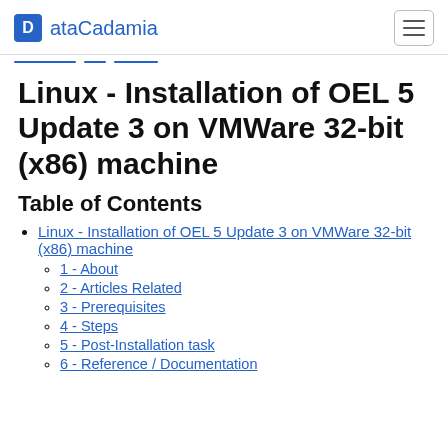ataCadamia
Linux - Installation of OEL 5 Update 3 on VMWare 32-bit (x86) machine
Table of Contents
Linux - Installation of OEL 5 Update 3 on VMWare 32-bit (x86) machine
1 - About
2 - Articles Related
3 - Prerequisites
4 - Steps
5 - Post-Installation task
6 - Reference / Documentation